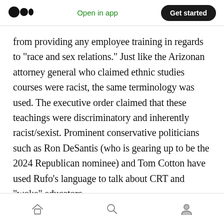Medium app header — logo, Open in app, Get started
from providing any employee training in regards to “race and sex relations.” Just like the Arizonan attorney general who claimed ethnic studies courses were racist, the same terminology was used. The executive order claimed that these teachings were discriminatory and inherently racist/sexist. Prominent conservative politicians such as Ron DeSantis (who is gearing up to be the 2024 Republican nominee) and Tom Cotton have used Rufo’s language to talk about CRT and “woke” educators.
Bottom navigation: Home, Search, Profile